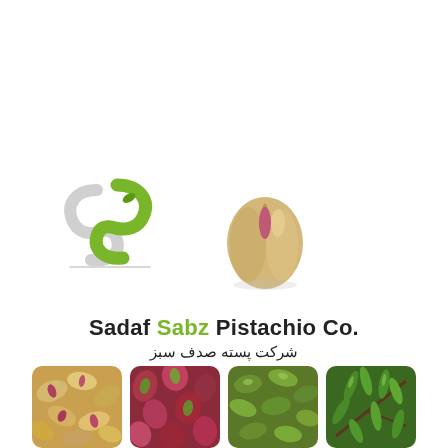[Figure (logo): Sadaf Sabz company logo: two overlapping S-shaped leaf/wave forms, one white outlined and one green filled, forming a stylized SS mark]
[Figure (photo): A single pistachio nut with shell open showing the pink kernel inside, photographed on white background]
Sadaf Sabz Pistachio Co.
شرکت پسته صدف سبز
[Figure (photo): Four square photos in a row at the bottom: roasted pistachios in shells, shelled raw pistachios (kernels with red skin), shelled green pistachio kernels, and pistachio pods/fresh green pistachios on tree branches]